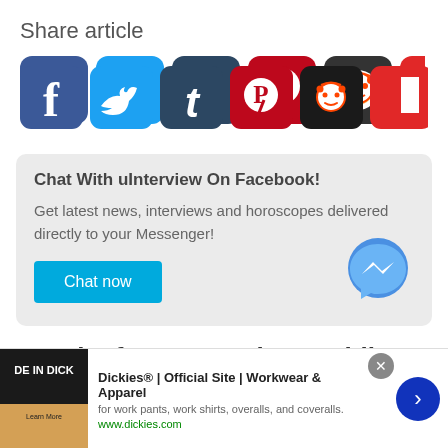Share article
[Figure (illustration): Social media share buttons: Facebook, Twitter, Tumblr, Pinterest, Reddit, Flipboard]
Chat With uInterview On Facebook!
Get latest news, interviews and horoscopes delivered directly to your Messenger!
Chat now
Get the free uInterview mobile app for the
[Figure (screenshot): Advertisement: Dickies® | Official Site | Workwear & Apparel — for work pants, work shirts, overalls, and coveralls. www.dickies.com]